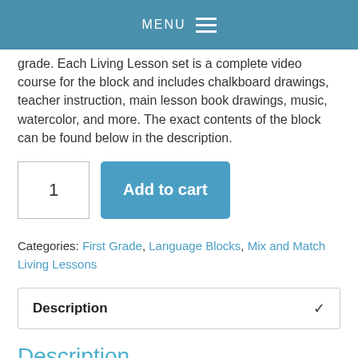MENU
grade. Each Living Lesson set is a complete video course for the block and includes chalkboard drawings, teacher instruction, main lesson book drawings, music, watercolor, and more. The exact contents of the block can be found below in the description.
1  Add to cart
Categories: First Grade, Language Blocks, Mix and Match Living Lessons
Description ✓
Description